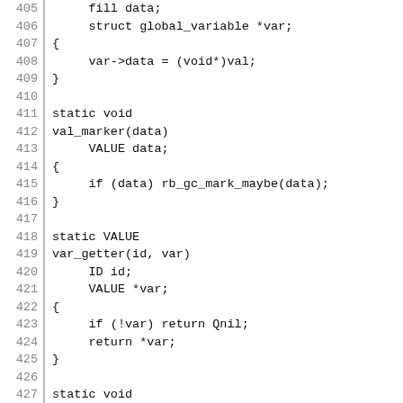code listing lines 405-435 showing C functions: struct global_variable *var, val_marker, var_getter, var_setter
[Figure (other): Source code listing with line numbers 405-435 showing C function definitions for val_marker, var_getter, and var_setter]